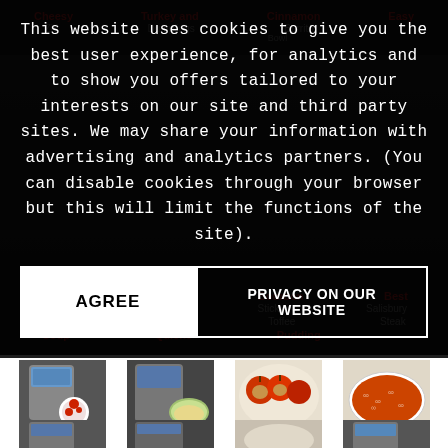This website uses cookies to give you the best user experience, for analytics and to show you offers tailored to your interests on our site and third party sites. We may share your information with advertising and analytics partners. (You can disable cookies through your browser but this will limit the functions of the site).
AGREE
PRIVACY ON OUR WEBSITE
[Figure (photo): Four food photos in a grid row: Cherry Chocolate Pudding Cake (Instant Pot with cherry dessert), Potato Corn Chowder (Instant Pot with corn dish), Delightfully Baked Apples (baked apples on colorful plate), Hearty Lasagna Soup (bowl of pasta soup)]
Cherry Chocolate Pudding Cake
Potato Corn Chowder
Delightfully Baked Apples
Hearty Lasagna Soup
[Figure (photo): Four partially visible food/appliance photos at the bottom of the page]